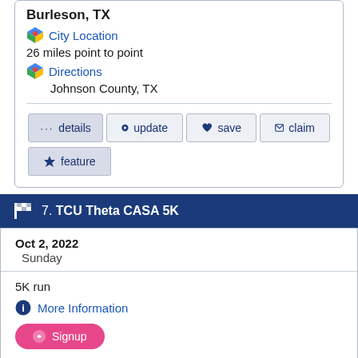Burleson, TX
City Location
26 miles point to point
Directions
Johnson County, TX
details
update
save
claim
feature
7. TCU Theta CASA 5K
Oct 2, 2022
Sunday
5K run
More Information
Signup
Ft. Worth, TX